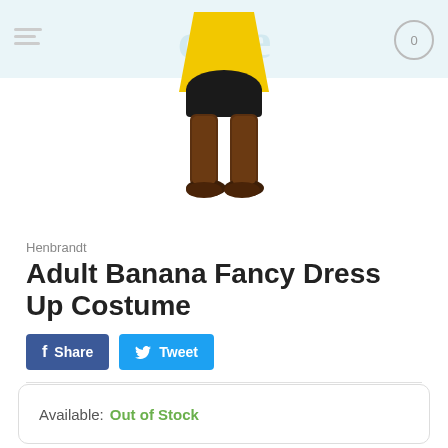[Figure (photo): Photo of a person wearing an Adult Banana Fancy Dress Up Costume, showing the lower half of the body with yellow banana costume and bare feet]
Henbrandt
Adult Banana Fancy Dress Up Costume
Share  Tweet
Product SKU:   henbrandt u00 376
Category:   Fancy Dress, Party & Decoration
Available: Out of Stock